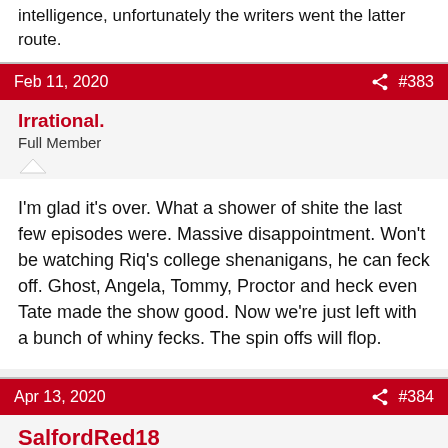intelligence, unfortunately the writers went the latter route.
Feb 11, 2020  #383
Irrational.
Full Member
I'm glad it's over. What a shower of shite the last few episodes were. Massive disappointment. Won't be watching Riq's college shenanigans, he can feck off. Ghost, Angela, Tommy, Proctor and heck even Tate made the show good. Now we're just left with a bunch of whiny fecks. The spin offs will flop.
Apr 13, 2020  #384
SalfordRed18
Netflix and avocado, no chill
Supports: Ashwood City FC